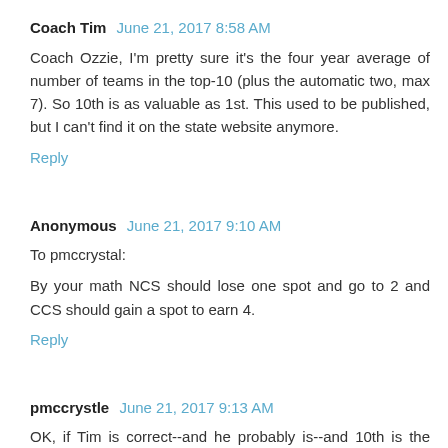Coach Tim  June 21, 2017 8:58 AM
Coach Ozzie, I'm pretty sure it's the four year average of number of teams in the top-10 (plus the automatic two, max 7). So 10th is as valuable as 1st. This used to be published, but I can't find it on the state website anymore.
Reply
Anonymous  June 21, 2017 9:10 AM
To pmccrystal:

By your math NCS should lose one spot and go to 2 and CCS should gain a spot to earn 4.
Reply
pmccrystle  June 21, 2017 9:13 AM
OK, if Tim is correct--and he probably is--and 10th is the same as 1st, then the number of top 10 finishes by section the last 4 years is as follows: